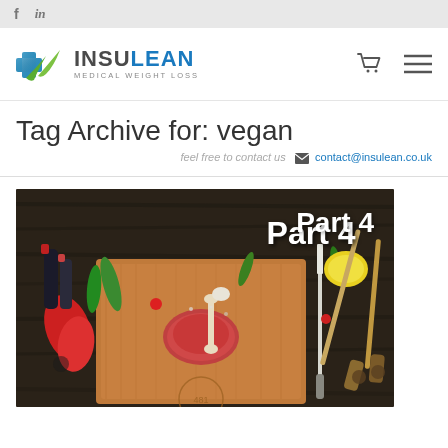f  in
[Figure (logo): Insulean Medical Weight Loss logo with blue/green cross and swoosh icon]
Tag Archive for: vegan
feel free to contact us  contact@insulean.co.uk
[Figure (photo): Food photography showing raw meat on cutting board with vegetables, knives, and the text 'Part 4' overlaid in white]